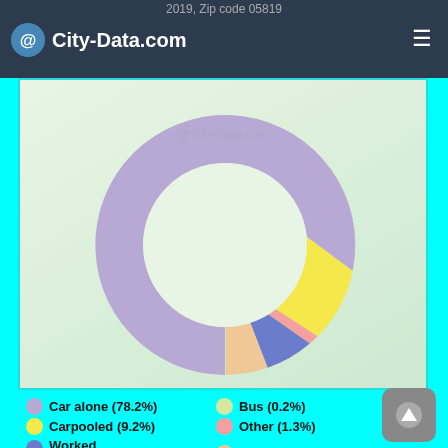2019, Zip code 05819 — City-Data.com
[Figure (donut-chart): Means of transportation to work, 2019, Zip code 05819]
Car alone (78.2%) | Carpooled (9.2%) | Worked at home (6.0%) | Bus (0.2%) | Other (1.3%) | Walked (5.2%)